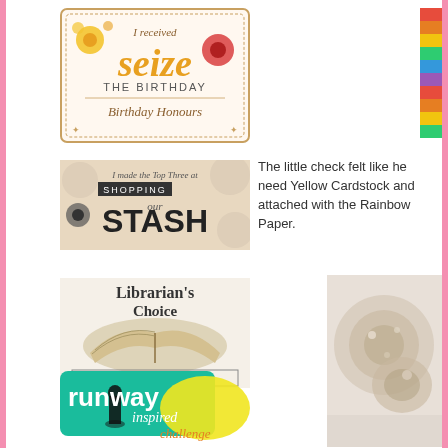[Figure (illustration): Seize the Birthday - Birthday Honours badge with flowers and decorative frame]
[Figure (illustration): Colorful rainbow striped image on right side]
[Figure (illustration): Shopping Our Stash - I made the Top Three badge]
The little check felt like he need Yellow Cardstock and attached with the Rainbow Paper.
[Figure (illustration): Librarian's Choice - The Library Challenge badge with open book]
[Figure (illustration): Runway Inspired Challenge badge with teal and yellow design]
[Figure (photo): Right side photo of crafting materials]